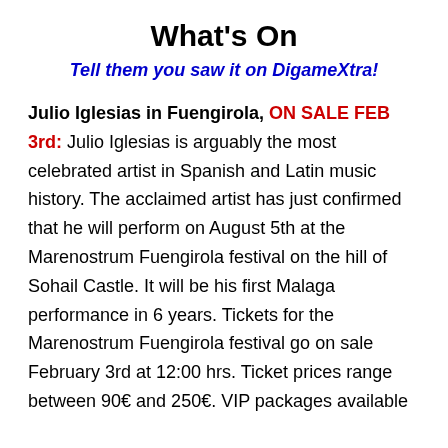What's On
Tell them you saw it on DigameXtra!
Julio Iglesias in Fuengirola, ON SALE FEB 3rd: Julio Iglesias is arguably the most celebrated artist in Spanish and Latin music history. The acclaimed artist has just confirmed that he will perform on August 5th at the Marenostrum Fuengirola festival on the hill of Sohail Castle. It will be his first Malaga performance in 6 years. Tickets for the Marenostrum Fuengirola festival go on sale February 3rd at 12:00 hrs. Ticket prices range between 90€ and 250€. VIP packages available